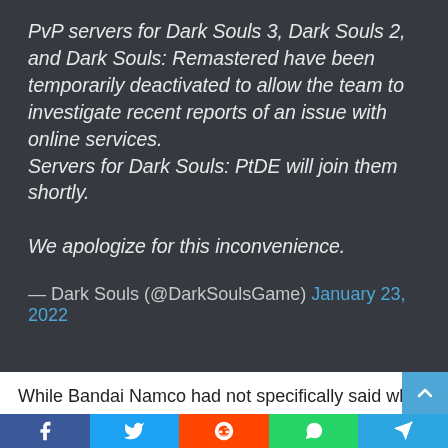PvP servers for Dark Souls 3, Dark Souls 2, and Dark Souls: Remastered have been temporarily deactivated to allow the team to investigate recent reports of an issue with online services.
Servers for Dark Souls: PtDE will join them shortly.

We apologize for this inconvenience.
— Dark Souls (@DarkSoulsGame) January 23, 2022
While Bandai Namco had not specifically said what the issu